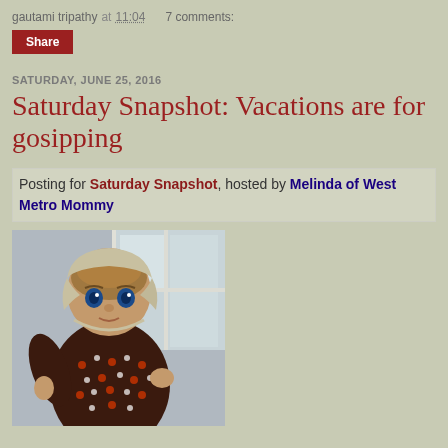gautami tripathy at 11:04   7 comments:
Share
SATURDAY, JUNE 25, 2016
Saturday Snapshot: Vacations are for gosipping
Posting for Saturday Snapshot, hosted by Melinda of West Metro Mommy
[Figure (photo): A vintage-style doll with a bonnet/head covering, wearing a dark patterned dress with white and orange dots, with blue eyes and brown hair, positioned indoors near a window]